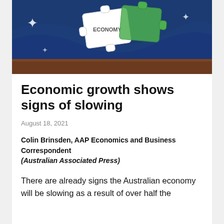[Figure (photo): Photograph of puzzle pieces labeled 'ECONOMY' resting on an Australian flag with blue fabric and wooden surface]
Economic growth shows signs of slowing
August 18, 2021
Colin Brinsden, AAP Economics and Business Correspondent
(Australian Associated Press)
There are already signs the Australian economy will be slowing as a result of over half the